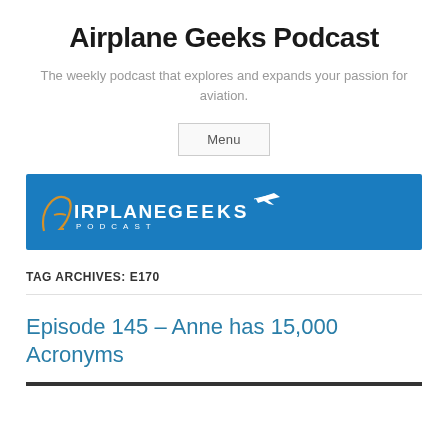Airplane Geeks Podcast
The weekly podcast that explores and expands your passion for aviation.
Menu
[Figure (logo): Airplane Geeks Podcast logo on a blue background with gold and white text and a small airplane icon]
TAG ARCHIVES: E170
Episode 145 – Anne has 15,000 Acronyms